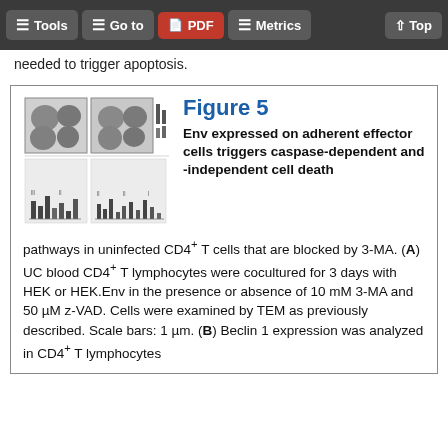Tools | Go to | PDF | Metrics | Top
needed to trigger apoptosis.
[Figure (illustration): Thumbnail images showing microscopy panels and bar graphs for Figure 5]
Figure 5
Env expressed on adherent effector cells triggers caspase-dependent and -independent cell death pathways in uninfected CD4+ T cells that are blocked by 3-MA. (A) UC blood CD4+ T lymphocytes were cocultured for 3 days with HEK or HEK.Env in the presence or absence of 10 mM 3-MA and 50 µM z-VAD. Cells were examined by TEM as previously described. Scale bars: 1 µm. (B) Beclin 1 expression was analyzed in CD4+ T lymphocytes